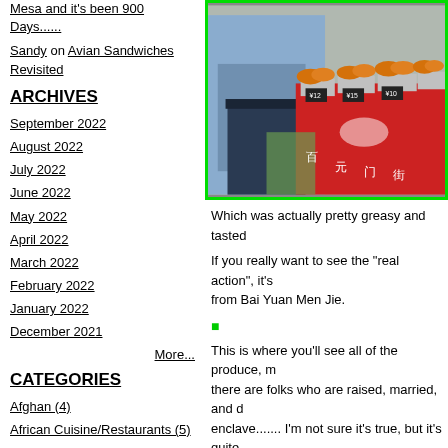Mesa and it's been 900 Days......
Sandy on Avian Sandwiches Revisited
ARCHIVES
September 2022
August 2022
July 2022
June 2022
May 2022
April 2022
March 2022
February 2022
January 2022
December 2021
More...
CATEGORIES
Afghan (4)
African Cuisine/Restaurants (5)
[Figure (photo): Photo of a person standing at a food market stall with trays of fried/roasted food items, orange-colored snacks in metal trays on a red display, with price tags visible.]
Which was actually pretty greasy and tasted
If you really want to see the "real action", it's from Bai Yuan Men Jie.
This is where you'll see all of the produce, m there are folks who are raised, married, and d enclave....... I'm not sure it's true, but it's quite
[Figure (photo): Photo showing a warm interior scene, appears to be a market or shop interior with amber/golden tones.]